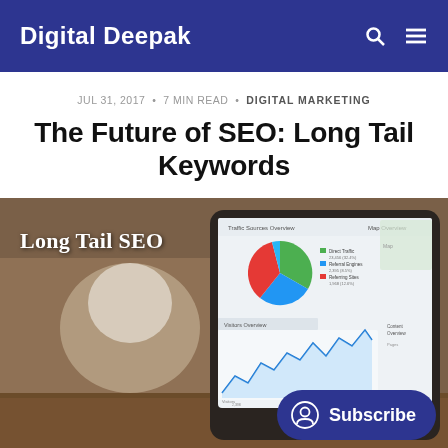Digital Deepak
JUL 31, 2017 • 7 MIN READ • DIGITAL MARKETING
The Future of SEO: Long Tail Keywords
[Figure (photo): Hero image showing a tablet displaying an analytics dashboard with a pie chart and line graph, text 'Long Tail SEO' overlaid on left side, coffee cup and laptop in background. A dark blue 'Subscribe' button is overlaid bottom right.]